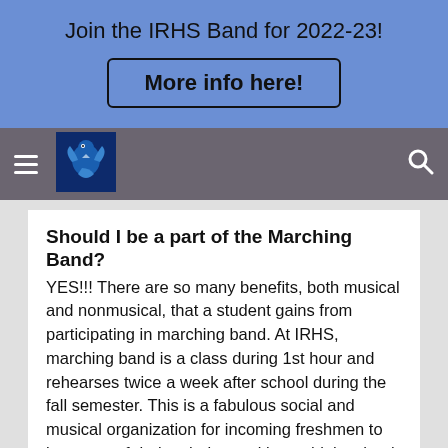Join the IRHS Band for 2022-23!
More info here!
[Figure (logo): IRHS bird mascot logo on dark blue background]
Should I be a part of the Marching Band?
YES!!! There are so many benefits, both musical and nonmusical, that a student gains from participating in marching band. At IRHS, marching band is a class during 1st hour and rehearses twice a week after school during the fall semester. This is a fabulous social and musical organization for incoming freshmen to be a part of during their transition to high school. Now is the time to think about joining this organization. Information about summer band camp will be sent home in the late spring. We recommend all students in jazz band